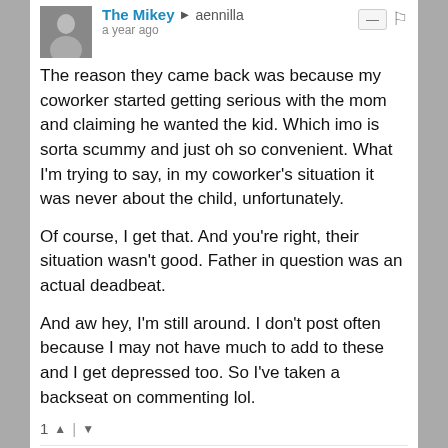[Figure (screenshot): Social media comment thread. First comment by 'The Mikey' replying to 'aennilla', posted a year ago, with avatar of a man. Text discusses a coworker situation and personal commenting habits. Second comment by 'aennilla' replying to 'The Mikey', posted a year ago, with animal avatar. Text begins 'I haven't been around much because these last 18'.]